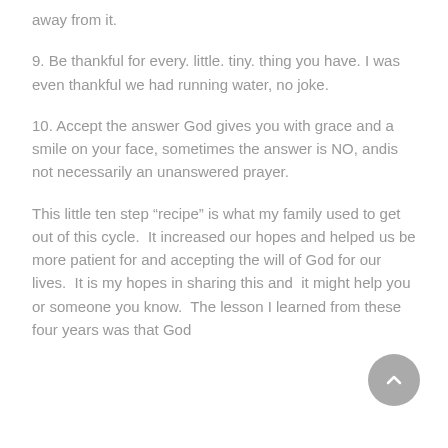away from it.
9. Be thankful for every. little. tiny. thing you have. I was even thankful we had running water, no joke.
10. Accept the answer God gives you with grace and a smile on your face, sometimes the answer is NO, andis  not necessarily an unanswered prayer.
This little ten step “recipe” is what my family used to get out of this cycle.  It increased our hopes and helped us be more patient for and accepting the will of God for our lives.  It is my hopes in sharing this and  it might help you or someone you know.  The lesson I learned from these four years was that God